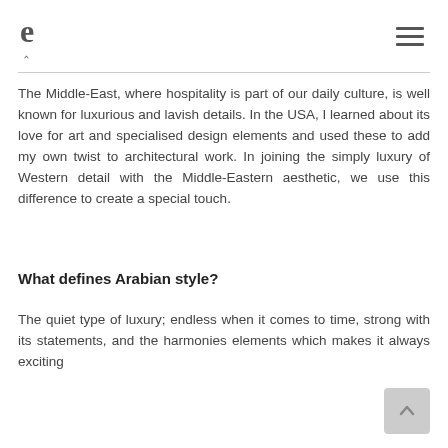e (logo) | hamburger menu
The Middle-East, where hospitality is part of our daily culture, is well known for luxurious and lavish details. In the USA, I learned about its love for art and specialised design elements and used these to add my own twist to architectural work. In joining the simply luxury of Western detail with the Middle-Eastern aesthetic, we use this difference to create a special touch.
What defines Arabian style?
The quiet type of luxury; endless when it comes to time, strong with its statements, and the harmonies elements which makes it always exciting